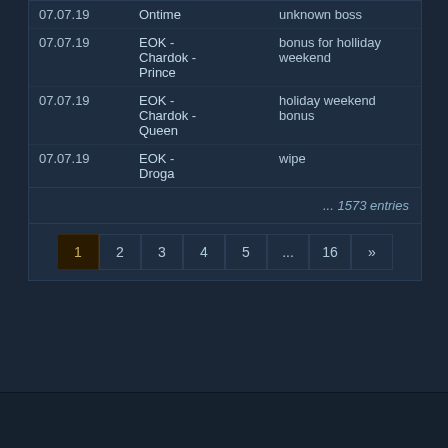| Date | Boss | Note |
| --- | --- | --- |
| 07.07.19 | Ontime | unknown boss |
| 07.07.19 | EOK - Chardok - Prince | bonus for holliday weekend |
| 07.07.19 | EOK - Chardok - Queen | holiday weekend bonus |
| 07.07.19 | EOK - Droga | wipe |
... 1573 entries
1 2 3 4 5 ... 16 »